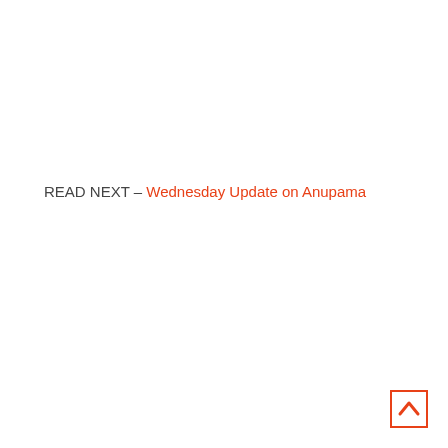READ NEXT – Wednesday Update on Anupama
[Figure (other): Back to top button — a small square with an orange border containing an upward-pointing orange chevron/arrow icon]